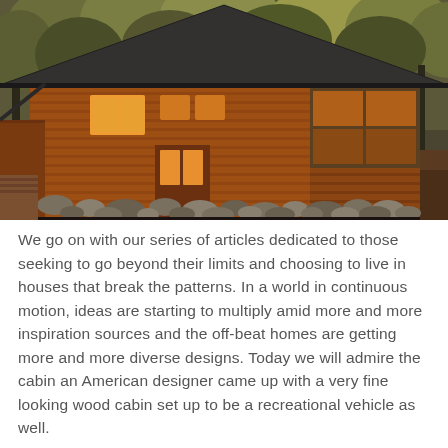[Figure (photo): Exterior photo of a wooden cabin with horizontal cedar siding, illuminated windows glowing orange/yellow, a gabled dark shingle roof, and decorative rocks along the foundation, surrounded by tall trees in autumn light.]
We go on with our series of articles dedicated to those seeking to go beyond their limits and choosing to live in houses that break the patterns. In a world in continuous motion, ideas are starting to multiply amid more and more inspiration sources and the off-beat homes are getting more and more diverse designs. Today we will admire the cabin an American designer came up with a very fine looking wood cabin set up to be a recreational vehicle as well.